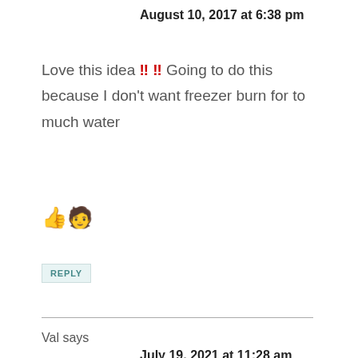August 10, 2017 at 6:38 pm
Love this idea !! !! Going to do this because I don't want freezer burn for to much water 👍🧑
REPLY
Val says
July 19, 2021 at 11:28 am